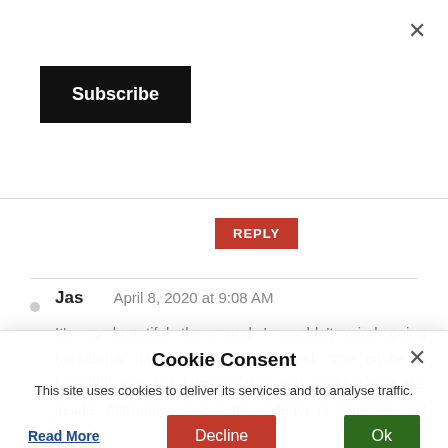×
Subscribe
REPLY
Jas    April 8, 2020 at 9:08 AM
It's so beautiful there and I wouldn't mind going horseback riding through that forest! The castle is beautiful too, but bummer that you couldn't tour the inside. Although I guess the exterior is stunning and already
Cookie Consent
This site uses cookies to deliver its services and to analyse traffic.
Read More
Decline
Ok